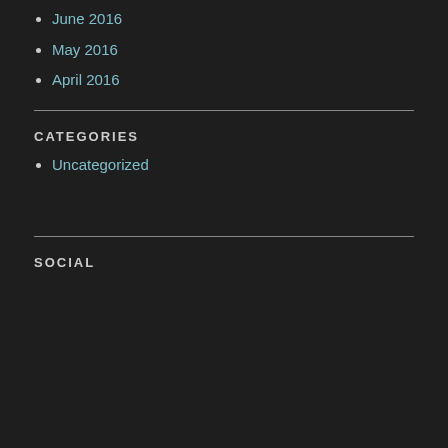June 2016
May 2016
April 2016
CATEGORIES
Uncategorized
SOCIAL